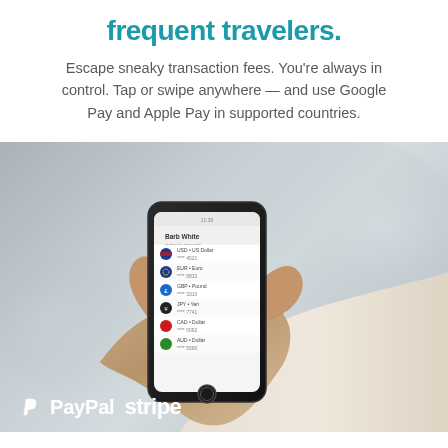frequent travelers.
Escape sneaky transaction fees. You're always in control. Tap or swipe anywhere — and use Google Pay and Apple Pay in supported countries.
[Figure (photo): A hand holding a smartphone displaying a mobile banking or currency exchange app with multiple currency flag icons listed on screen. Background is blurred gray outdoor environment.]
PayPal  stripe